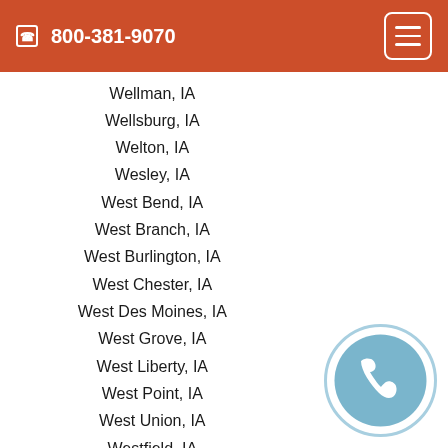800-381-9070
Wellman, IA
Wellsburg, IA
Welton, IA
Wesley, IA
West Bend, IA
West Branch, IA
West Burlington, IA
West Chester, IA
West Des Moines, IA
West Grove, IA
West Liberty, IA
West Point, IA
West Union, IA
Westfield, IA
Westgate, IA
Westphalia, IA
Westside, IA
Wever, IA
[Figure (illustration): Blue phone handset icon inside a light blue circle with white border, positioned in bottom-right corner]